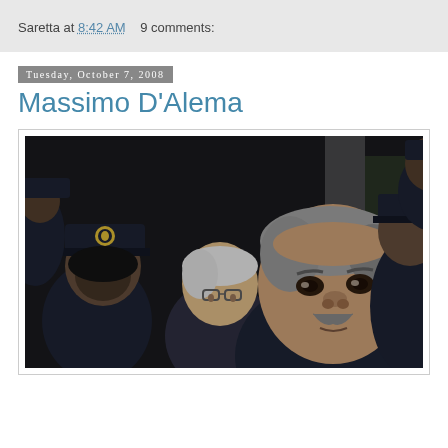Saretta at 8:42 AM   9 comments:
Tuesday, October 7, 2008
Massimo D'Alema
[Figure (photo): A group of people including a man with grey hair and moustache in the foreground, surrounded by police officers in dark uniforms with caps bearing an emblem, and other individuals in a crowded scene at night.]